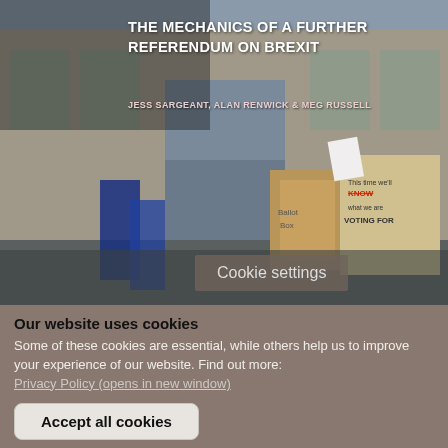[Figure (photo): Photograph of a protest scene outside a classical stone building. People hold EU flags and protest signs including one reading 'Ballot Box' and another reading 'This time we'll KNOW what we are VOTING FOR'. The image is overlaid with the book/report title and authors.]
THE MECHANICS OF A FURTHER REFERENDUM ON BREXIT
JESS SARGEANT, ALAN RENWICK & MEG RUSSELL
Cookie settings
Our website uses cookies
Some of these cookies are essential, while others help us to improve your experience of our website. Find out more: Privacy Policy (opens in new window)
Accept all cookies
Manage cookies